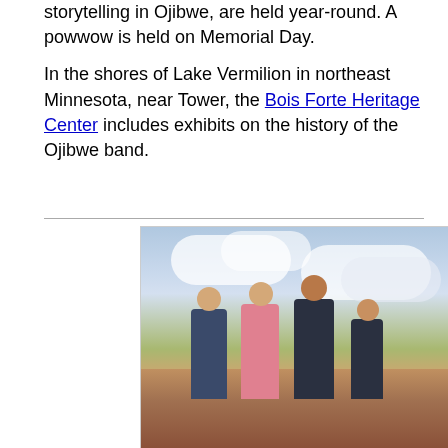storytelling in Ojibwe, are held year-round. A powwow is held on Memorial Day.
In the shores of Lake Vermilion in northeast Minnesota, near Tower, the Bois Forte Heritage Center includes exhibits on the history of the Ojibwe band.
[Figure (photo): Four people (two adults and two children/teens) walking outdoors on rocky terrain under a partly cloudy sky. One person wears a pink shirt and white pants, others in dark shirts and jeans/shorts.]